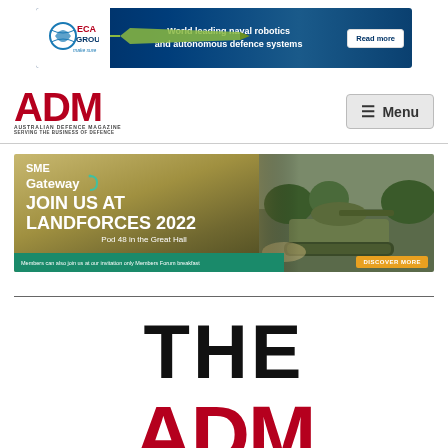[Figure (illustration): ECA Group banner advertisement: World leading naval robotics and autonomous defence systems. Read more button. Blue background with torpedo graphic.]
ADM - Australian Defence Magazine - Serving the Business of Defence | Menu
[Figure (illustration): SME Gateway banner: JOIN US AT LANDFORCES 2022. Pod 48 in the Great Hall. Members can also join us at our invitation only Members Forum breakfast. Discover More button. Features tank image on right side.]
THE
ADM